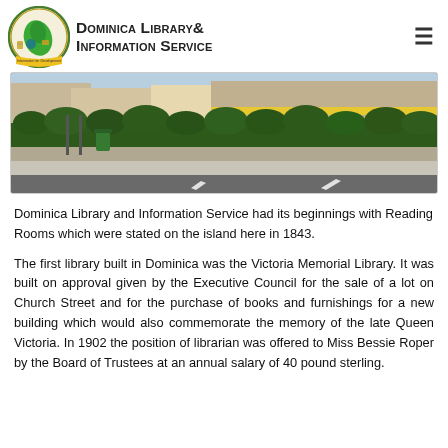[Figure (logo): Dominica Library & Information Service logo with green island map and circular emblem]
[Figure (photo): Street-level photo of a building exterior with a hedge, sidewalk, and road with arrow markings]
Dominica Library and Information Service had its beginnings with Reading Rooms which were stated on the island here in 1843.
The first library built in Dominica was the Victoria Memorial Library. It was built on approval given by the Executive Council for the sale of a lot on Church Street and for the purchase of books and furnishings for a new building which would also commemorate the memory of the late Queen Victoria. In 1902 the position of librarian was offered to Miss Bessie Roper by the Board of Trustees at an annual salary of 40 pound sterling.